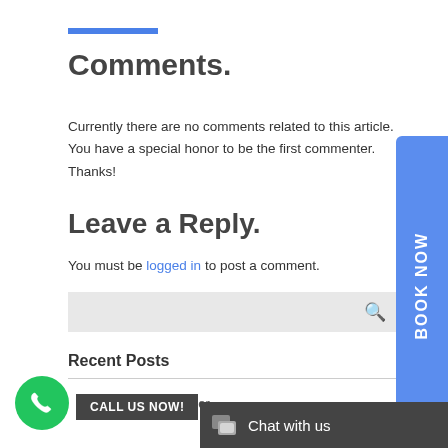Comments.
Currently there are no comments related to this article. You have a special honor to be the first commenter. Thanks!
Leave a Reply.
You must be logged in to post a comment.
Recent Posts
Home Vs. Pro Recor…